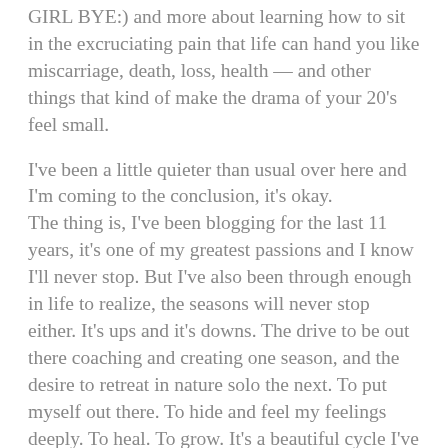GIRL BYE:) and more about learning how to sit in the excruciating pain that life can hand you like miscarriage, death, loss, health — and other things that kind of make the drama of your 20's feel small.
I've been a little quieter than usual over here and I'm coming to the conclusion, it's okay. The thing is, I've been blogging for the last 11 years, it's one of my greatest passions and I know I'll never stop. But I've also been through enough in life to realize, the seasons will never stop either. It's ups and it's downs. The drive to be out there coaching and creating one season, and the desire to retreat in nature solo the next. To put myself out there. To hide and feel my feelings deeply. To heal. To grow. It's a beautiful cycle I've come to accept. And that includes being quiet online sometimes, even if